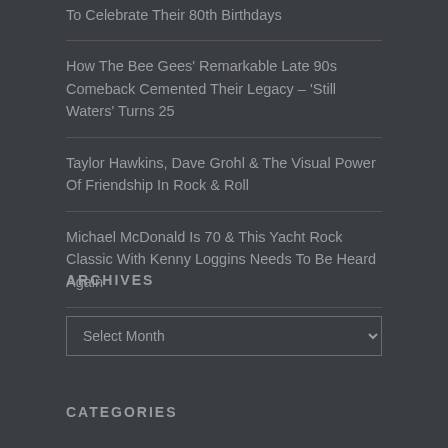To Celebrate Their 80th Birthdays
How The Bee Gees' Remarkable Late 90s Comeback Cemented Their Legacy – 'Still Waters' Turns 25
Taylor Hawkins, Dave Grohl & The Visual Power Of Friendship In Rock & Roll
Michael McDonald Is 70 & This Yacht Rock Classic With Kenny Loggins Needs To Be Heard Again
ARCHIVES
CATEGORIES